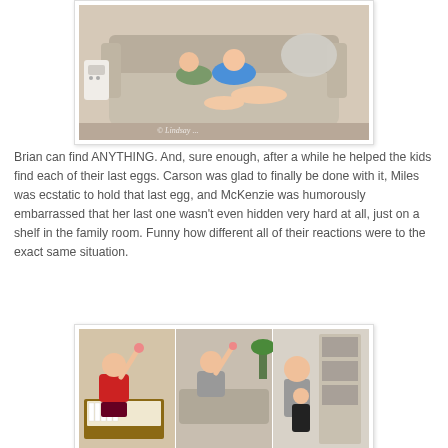[Figure (photo): Photo of children lounging on a couch with a copyright watermark reading '© Lindsay...']
Brian can find ANYTHING. And, sure enough, after a while he helped the kids find each of their last eggs. Carson was glad to finally be done with it, Miles was ecstatic to hold that last egg, and McKenzie was humorously embarrassed that her last one wasn't even hidden very hard at all, just on a shelf in the family room. Funny how different all of their reactions were to the exact same situation.
[Figure (photo): Three-panel photo collage showing children reacting after finding their last Easter eggs. Left panel: a boy in red shirt holding up an egg near a piano. Middle panel: a boy in gray holding up an egg in a living room. Right panel: a girl standing with a younger child near a built-in bookcase.]